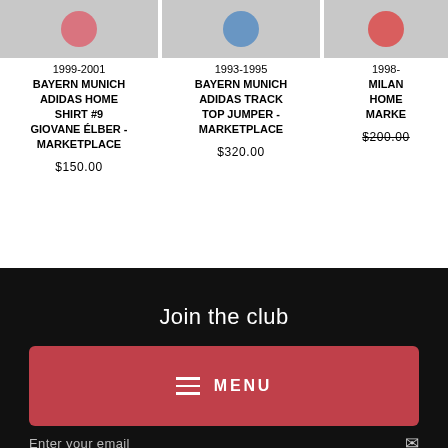[Figure (screenshot): Product image for 1999-2001 Bayern Munich Adidas Home Shirt #9]
1999-2001
BAYERN MUNICH ADIDAS HOME SHIRT #9 GIOVANE ÉLBER - MARKETPLACE
$150.00
[Figure (screenshot): Product image for 1993-1995 Bayern Munich Adidas Track Top Jumper]
1993-1995
BAYERN MUNICH ADIDAS TRACK TOP JUMPER - MARKETPLACE
$320.00
[Figure (screenshot): Product image for 1998-? Milan Home Marketplace item]
1998-
MILAN HOME MARKE
$200.00
Join the club
MENU
Enter your email